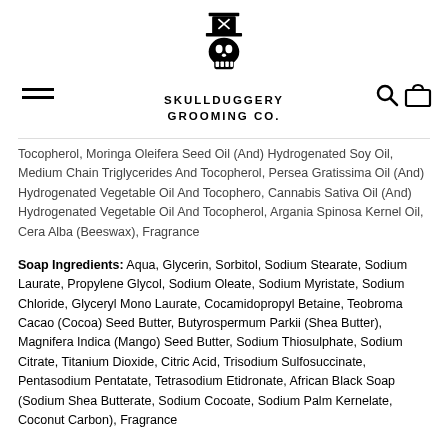[Figure (logo): Skullduggery Grooming Co. logo: skull wearing a top hat with crossbones, above the brand name SKULLDUGGERY GROOMING CO.]
Tocopherol, Moringa Oleifera Seed Oil (And) Hydrogenated Soy Oil, Medium Chain Triglycerides And Tocopherol, Persea Gratissima Oil (And) Hydrogenated Vegetable Oil And Tocophero, Cannabis Sativa Oil (And) Hydrogenated Vegetable Oil And Tocopherol, Argania Spinosa Kernel Oil, Cera Alba (Beeswax), Fragrance
Soap Ingredients: Aqua, Glycerin, Sorbitol, Sodium Stearate, Sodium Laurate, Propylene Glycol, Sodium Oleate, Sodium Myristate, Sodium Chloride, Glyceryl Mono Laurate, Cocamidopropyl Betaine, Teobroma Cacao (Cocoa) Seed Butter, Butyrospermum Parkii (Shea Butter), Magnifera Indica (Mango) Seed Butter, Sodium Thiosulphate, Sodium Citrate, Titanium Dioxide, Citric Acid, Trisodium Sulfosuccinate, Pentasodium Pentatate, Tetrasodium Etidronate, African Black Soap (Sodium Shea Butterate, Sodium Cocoate, Sodium Palm Kernelate, Coconut Carbon), Fragrance